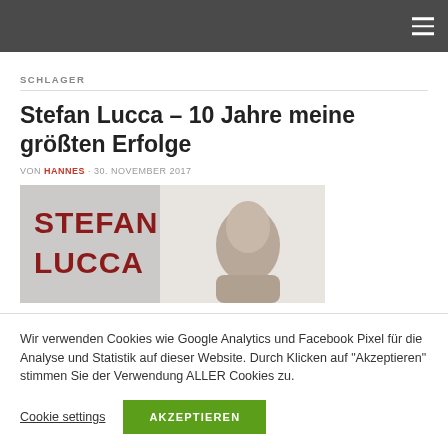navigation bar with hamburger menu
SCHLAGER
Stefan Lucca – 10 Jahre meine größten Erfolge
VON HANNES · 30. NOVEMBER 2017
[Figure (photo): Stefan Lucca album cover image with bold red text 'STEFAN LUCCA' on left and a man's face partially visible on the right against a light background]
Wir verwenden Cookies wie Google Analytics und Facebook Pixel für die Analyse und Statistik auf dieser Website. Durch Klicken auf "Akzeptieren" stimmen Sie der Verwendung ALLER Cookies zu.
Cookie settings    AKZEPTIEREN